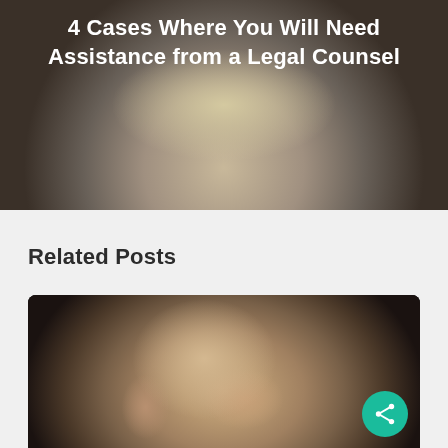[Figure (photo): Black and white photo of a smiling blond woman with hero banner overlay]
4 Cases Where You Will Need Assistance from a Legal Counsel
Related Posts
[Figure (photo): Photo of a bald man holding his neck in pain against a dark background, with a teal share button overlay]